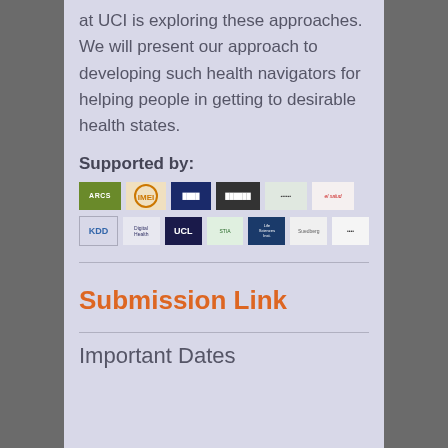at UCI is exploring these approaches. We will present our approach to developing such health navigators for helping people in getting to desirable health states.
Supported by:
[Figure (logo): Two rows of sponsor/supporter logos including green ARCS logo, orange circle logo, navy blue logo, dark logo, light green logo, red text logo, KDD logo, SIGIR logo, UCL logo, STIA logo, blue square logo, gray logos]
Submission Link
Important Dates